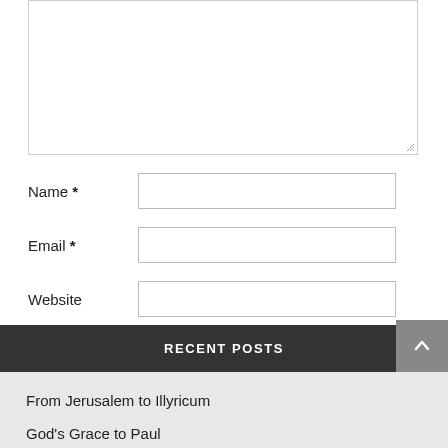[Figure (other): Comment text area input box (partially visible, top of page)]
Name *
Email *
Website
Post Comment
RECENT POSTS
From Jerusalem to Illyricum
God's Grace to Paul